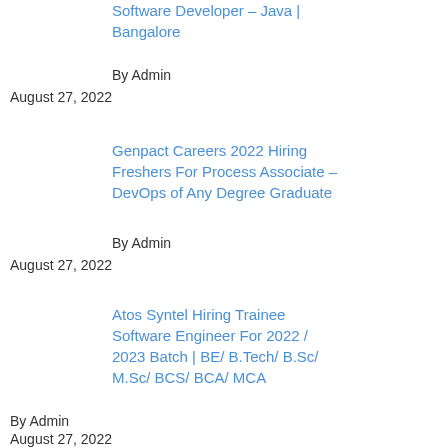Software Developer – Java | Bangalore
By Admin
August 27, 2022
Genpact Careers 2022 Hiring Freshers For Process Associate – DevOps of Any Degree Graduate
By Admin
August 27, 2022
Atos Syntel Hiring Trainee Software Engineer For 2022 / 2023 Batch | BE/ B.Tech/ B.Sc/ M.Sc/ BCS/ BCA/ MCA
By Admin
August 27, 2022